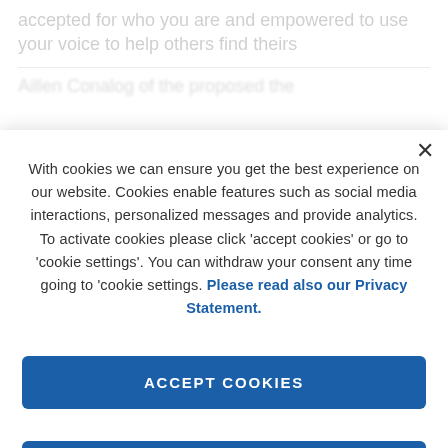accepted for who you are and empowered to use your voice to help others find theirs
With cookies we can ensure you get the best experience on our website. Cookies enable features such as social media interactions, personalized messages and provide analytics. To activate cookies please click 'accept cookies' or go to 'cookie settings'. You can withdraw your consent any time going to 'cookie settings. Please read also our Privacy Statement.
ACCEPT COOKIES
REJECT ALL